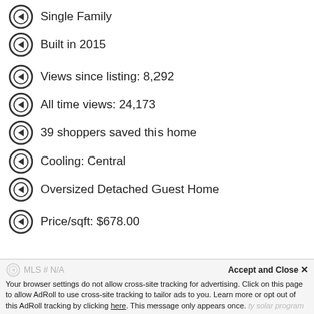Single Family
Built in 2015
Views since listing: 8,292
All time views: 24,173
39 shoppers saved this home
Cooling: Central
Oversized Detached Guest Home
Price/sqft: $678.00
MLS # N/A  Accept and Close ×  Your browser settings do not allow cross-site tracking for advertising. Click on this page to allow AdRoll to use cross-site tracking to tailor ads to you. Learn more or opt out of this AdRoll tracking by clicking here. This message only appears once.